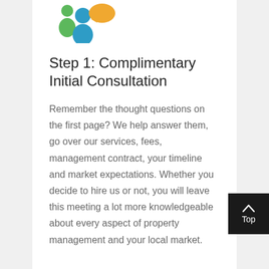[Figure (illustration): Colorful people/team icon with green, blue, and orange figures]
Step 1: Complimentary Initial Consultation
Remember the thought questions on the first page? We help answer them, go over our services, fees, management contract, your timeline and market expectations. Whether you decide to hire us or not, you will leave this meeting a lot more knowledgeable about every aspect of property management and your local market.